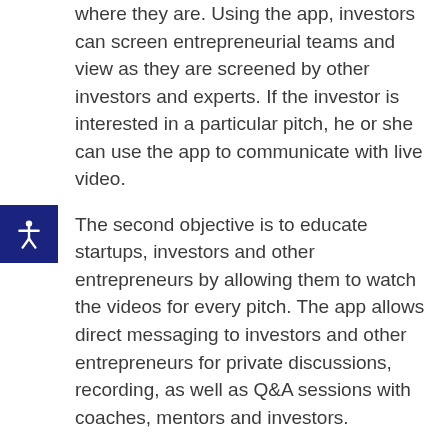where they are. Using the app, investors can screen entrepreneurial teams and view as they are screened by other investors and experts. If the investor is interested in a particular pitch, he or she can use the app to communicate with live video.
The second objective is to educate startups, investors and other entrepreneurs by allowing them to watch the videos for every pitch. The app allows direct messaging to investors and other entrepreneurs for private discussions, recording, as well as Q&A sessions with coaches, mentors and investors.